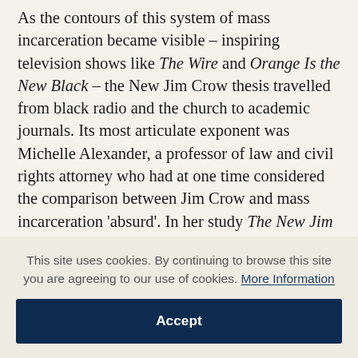As the contours of this system of mass incarceration became visible – inspiring television shows like The Wire and Orange Is the New Black – the New Jim Crow thesis travelled from black radio and the church to academic journals. Its most articulate exponent was Michelle Alexander, a professor of law and civil rights attorney who had at one time considered the comparison between Jim Crow and mass incarceration 'absurd'. In her study The New Jim Crow (2010), she argued that the new version differed from the old only in 'the
This site uses cookies. By continuing to browse this site you are agreeing to our use of cookies. More Information
Accept